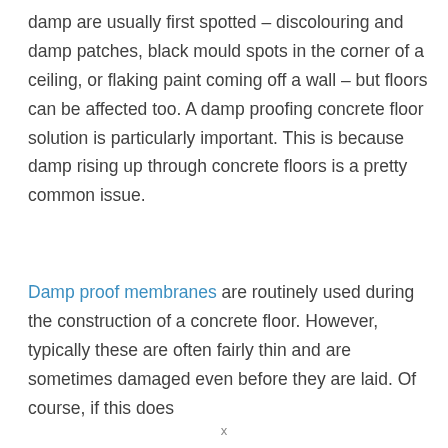damp are usually first spotted – discolouring and damp patches, black mould spots in the corner of a ceiling, or flaking paint coming off a wall – but floors can be affected too. A damp proofing concrete floor solution is particularly important. This is because damp rising up through concrete floors is a pretty common issue.
Damp proof membranes are routinely used during the construction of a concrete floor. However, typically these are often fairly thin and are sometimes damaged even before they are laid. Of course, if this does
x